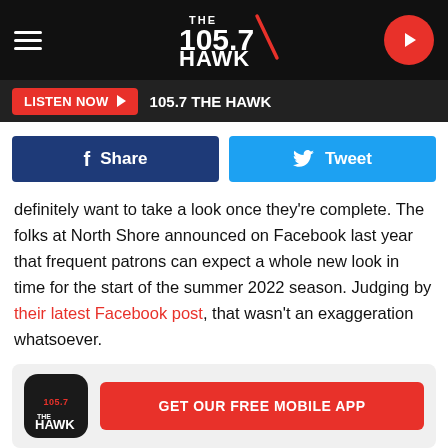THE 105.7 HAWK — CLASSIC ROCK FOR THE JERSEY SHORE
[Figure (screenshot): LISTEN NOW button with play arrow, followed by '105.7 THE HAWK' text in listen bar]
[Figure (screenshot): Facebook Share button (dark blue) and Twitter Tweet button (light blue) side by side]
definitely want to take a look once they're complete. The folks at North Shore announced on Facebook last year that frequent patrons can expect a whole new look in time for the start of the summer 2022 season. Judging by their latest Facebook post, that wasn't an exaggeration whatsoever.
[Figure (screenshot): GET OUR FREE MOBILE APP promotional banner with 105.7 The Hawk app icon on left and red button on right]
In their most recent post to Facebook, you can see the